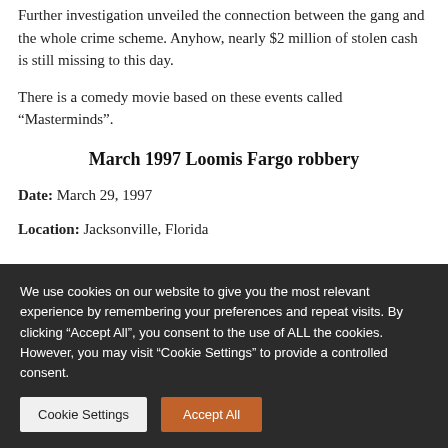Further investigation unveiled the connection between the gang and the whole crime scheme. Anyhow, nearly $2 million of stolen cash is still missing to this day.
There is a comedy movie based on these events called “Masterminds”.
March 1997 Loomis Fargo robbery
Date: March 29, 1997
Location: Jacksonville, Florida
We use cookies on our website to give you the most relevant experience by remembering your preferences and repeat visits. By clicking “Accept All”, you consent to the use of ALL the cookies. However, you may visit “Cookie Settings” to provide a controlled consent.